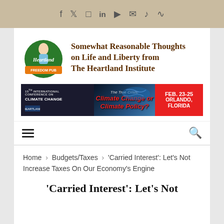Social media icons: f, Twitter, Instagram, in, YouTube, Email, SoundCloud, RSS
[Figure (logo): Heartland Freedom Pub logo - woman figure with green circular badge and orange banner]
Somewhat Reasonable Thoughts on Life and Liberty from The Heartland Institute
[Figure (screenshot): Banner ad: 15th International Conference on Climate Change. The True Crisis: Climate Change or Climate Policy? FEB. 23-25 ORLANDO, FLORIDA]
[Figure (infographic): Navigation bar with hamburger menu icon on left and search icon on right]
Home > Budgets/Taxes > 'Carried Interest': Let's Not Increase Taxes On Our Economy's Engine
'Carried Interest': Let's Not